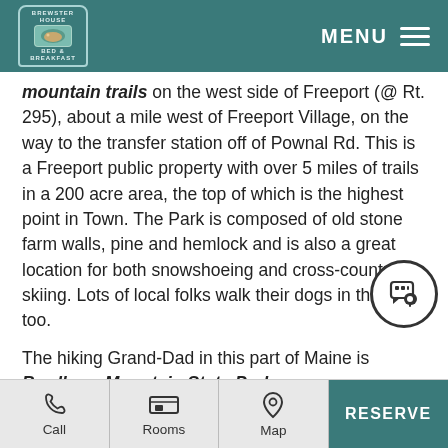Brewster House Bed & Breakfast — MENU
mountain trails on the west side of Freeport (@ Rt. 295), about a mile west of Freeport Village, on the way to the transfer station off of Pownal Rd. This is a Freeport public property with over 5 miles of trails in a 200 acre area, the top of which is the highest point in Town. The Park is composed of old stone farm walls, pine and hemlock and is also a great location for both snowshoeing and cross-country skiing. Lots of local folks walk their dogs in this park too.
The hiking Grand-Dad in this part of Maine is Bradbury Mountain State Park http://www.maine.gov/cgi-bin/online/doc/parksearch/details.pl?park_id= about 8 miles west in Pownal. One of the first State
Call | Rooms | Map | RESERVE